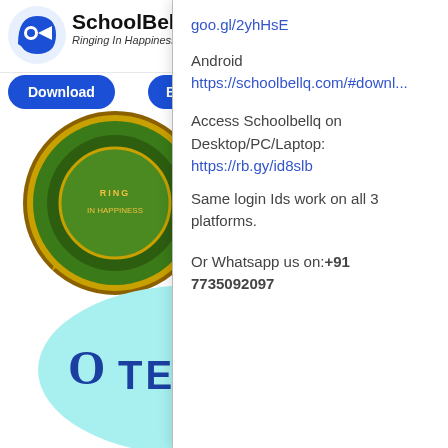[Figure (screenshot): SchoolBellQ website screenshot showing logo, Download and Book a Demo buttons, a green circular school badge, and a cyan circle with TESTS text, overlaid by a dropdown panel with links and contact information.]
goo.gl/2yhHsE
Android
https://schoolbellq.com/#downl...
Access Schoolbellq on Desktop/PC/Laptop:
https://rb.gy/id8slb
Same login Ids work on all 3 platforms.
Or Whatsapp us on:+91 7735092097